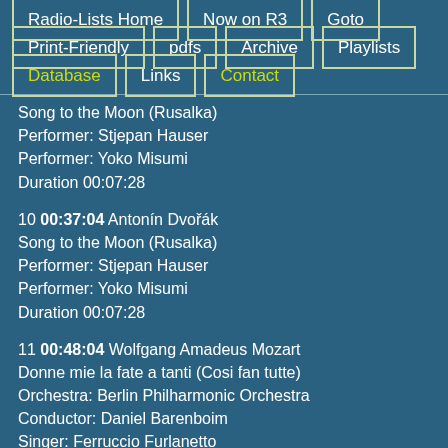Radio-Lists Home
Now on R3
Goto
Print-Friendly
pdfs
Archive
Playlists
Database
Links
Contact
Song to the Moon (Rusalka)
Performer: Stjepan Hauser
Performer: Yoko Misumi
Duration 00:07:28
10 00:37:04 Antonín Dvořák
Song to the Moon (Rusalka)
Performer: Stjepan Hauser
Performer: Yoko Misumi
Duration 00:07:28
11 00:48:04 Wolfgang Amadeus Mozart
Donne mie la fate a tanti (Cosi fan tutte)
Orchestra: Berlin Philharmonic Orchestra
Conductor: Daniel Barenboim
Singer: Ferruccio Furlanetto